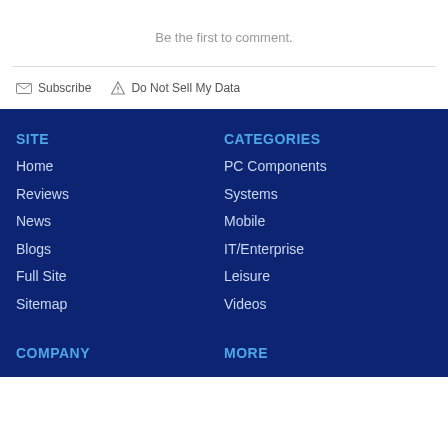Be the first to comment.
Subscribe
Do Not Sell My Data
SITE
CATEGORIES
Home
PC Components
Reviews
Systems
News
Mobile
Blogs
IT/Enterprise
Full Site
Leisure
Sitemap
Videos
COMPANY
MORE